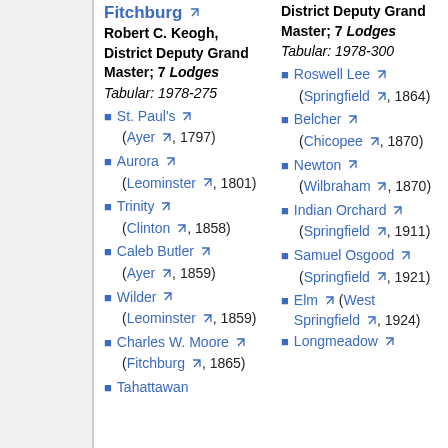Fitchburg
Robert C. Keogh, District Deputy Grand Master; 7 Lodges
Tabular: 1978-275
St. Paul's (Ayer, 1797)
Aurora (Leominster, 1801)
Trinity (Clinton, 1858)
Caleb Butler (Ayer, 1859)
Wilder (Leominster, 1859)
Charles W. Moore (Fitchburg, 1865)
Tahattawan
District Deputy Grand Master; 7 Lodges
Tabular: 1978-300
Roswell Lee (Springfield, 1864)
Belcher (Chicopee, 1870)
Newton (Wilbraham, 1870)
Indian Orchard (Springfield, 1911)
Samuel Osgood (Springfield, 1921)
Elm (West Springfield, 1924)
Longmeadow